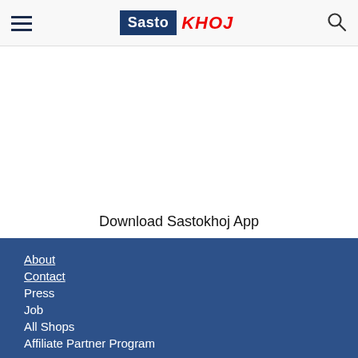Sasto KHOJ
Download Sastokhoj App
About
Contact
Press
Job
All Shops
Affiliate Partner Program